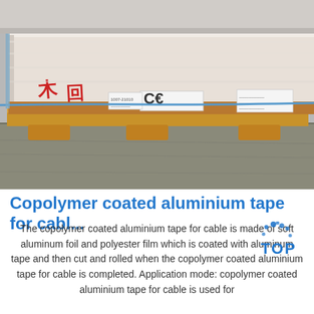[Figure (photo): Photograph of copolymer coated aluminium tape on a wooden pallet, showing stacked flat panels wrapped in packaging with Chinese characters marked in red, CE certification label visible, photographed on a concrete floor.]
Copolymer coated aluminium tape for cabl...
The copolymer coated aluminium tape for cable is made of soft aluminum foil and polyester film which is coated with aluminum tape and then cut and rolled when the copolymer coated aluminium tape for cable is completed. Application mode: copolymer coated aluminium tape for cable is used for